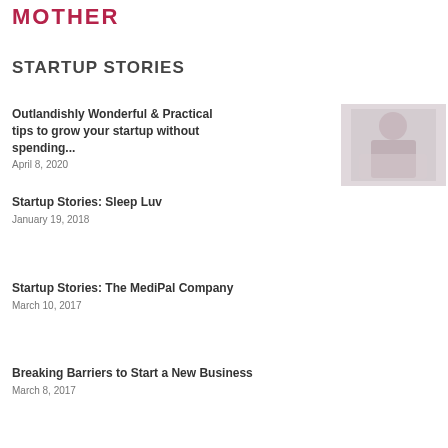MOTHER
STARTUP STORIES
Outlandishly Wonderful & Practical tips to grow your startup without spending...
April 8, 2020
[Figure (photo): Thumbnail photo of a person at a laptop, light pink/grey tones]
Startup Stories: Sleep Luv
January 19, 2018
Startup Stories: The MediPal Company
March 10, 2017
Breaking Barriers to Start a New Business
March 8, 2017